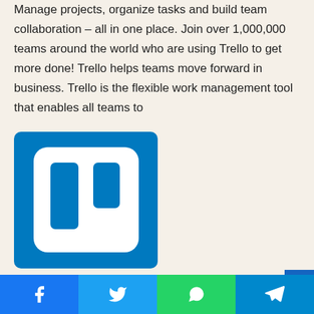Manage projects, organize tasks and build team collaboration – all in one place. Join over 1,000,000 teams around the world who are using Trello to get more done! Trello helps teams move forward in business. Trello is the flexible work management tool that enables all teams to
[Figure (logo): Trello logo — blue square background with white rounded rectangle containing two blue rectangular columns (Trello icon)]
Similarity Rate : 38 %
–
Facebook | Twitter | WhatsApp | Telegram